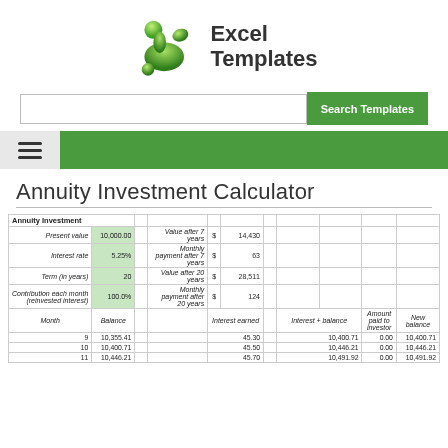[Figure (logo): Excel Templates logo with green abstract figure and bold text 'Excel Templates']
[Figure (screenshot): Search bar with text input and green 'Search Templates' button]
[Figure (screenshot): Navigation bar with hamburger menu icon on grey background and green bar]
Annuity Investment Calculator
|  |  |  | Interest earned | Interest + balance | Amount paid to investor | New balance |
| --- | --- | --- | --- | --- | --- | --- |
| Annuity Investment |  |  |  |  |  |  |
| Present value | 10,000.00 |  | Value after 7 years | $ | 14,430 |  |
| Interest rate | 5.25% |  | Monthly payment after 7 years | $ | 63 |  |
| Term (in years) | 20 |  | Value after 20 years | $ | 28,511 |  |
| Contribution each month (reinvested interest) | 100.0% |  | Monthly payment after 20 years | $ | 124 |  |
| Month | Balance |  |  |  |  |  |
| 9 | 10,355.41 | 45.30 |  | 10,400.71 | 0.00 | 10,400.71 |
| 10 | 10,400.71 | 45.50 |  | 10,446.21 | 0.00 | 10,446.21 |
| 11 | 10,446.21 | 45.70 |  | 10,491.92 | 0.00 | 10,491.92 |